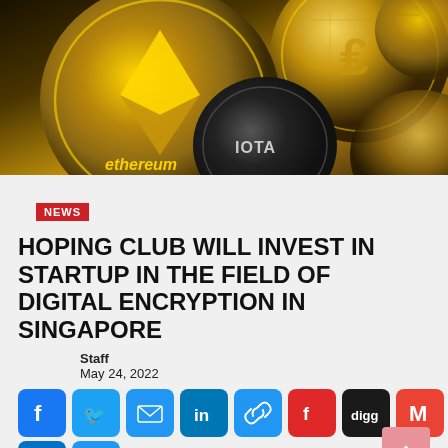[Figure (photo): Close-up photo of cryptocurrency coins including Ethereum (gold/dark), IOTA, and Litecoin coins piled together with gold and dark metallic finish]
NEWS
HOPING CLUB WILL INVEST IN STARTUP IN THE FIELD OF DIGITAL ENCRYPTION IN SINGAPORE
Staff
May 24, 2022
[Figure (infographic): Social sharing buttons row: Facebook (blue), Twitter (blue), Email (blue), LinkedIn (blue), Link (blue), Flipboard (red), Digg (dark), Gmail (red), and a second row with Outlook (blue), More/Plus (blue), and a back-to-top arrow button (pink/red)]